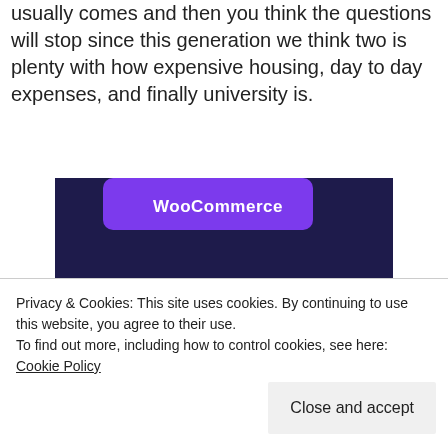usually comes and then you think the questions will stop since this generation we think two is plenty with how expensive housing, day to day expenses, and finally university is.
[Figure (screenshot): WooCommerce advertisement banner with dark navy/purple background, green and cyan geometric shapes, WooCommerce logo at top, text reading 'Turn your hobby into a business in 8 steps']
Privacy & Cookies: This site uses cookies. By continuing to use this website, you agree to their use.
To find out more, including how to control cookies, see here: Cookie Policy
[Close and accept button]